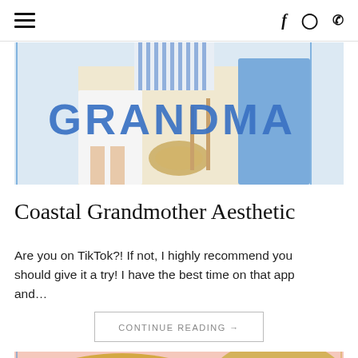☰  f  ⊙  P
[Figure (photo): Fashion photo with the word GRANDMA in large blue bold text overlaid on a coastal/beach style outfit scene with blue and white striped clothing, a blue dress, straw accessories on a light background.]
Coastal Grandmother Aesthetic
Are you on TikTok?! If not, I highly recommend you should give it a try! I have the best time on that app and…
CONTINUE READING →
[Figure (photo): Photo of straw/woven sun hats on a pink background, including a hat with a dark navy bow and a yellow gingham-patterned hat.]